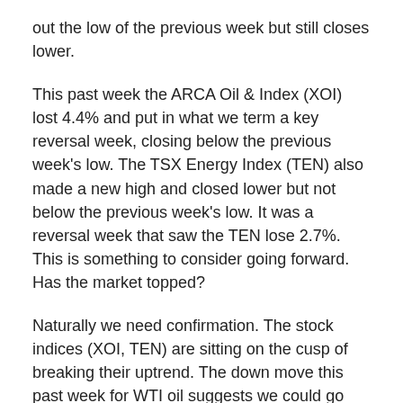out the low of the previous week but still closes lower.
This past week the ARCA Oil & Index (XOI) lost 4.4% and put in what we term a key reversal week, closing below the previous week's low. The TSX Energy Index (TEN) also made a new high and closed lower but not below the previous week's low. It was a reversal week that saw the TEN lose 2.7%. This is something to consider going forward. Has the market topped?
Naturally we need confirmation. The stock indices (XOI, TEN) are sitting on the cusp of breaking their uptrend. The down move this past week for WTI oil suggests we could go down and test support once again at $95. A break under that level, however, would confirm a top. Oil could fall and test the 200-day MA currently near $83. NG made its high last week at $8.07 and is now down in just one week 17.5% from that high. That's a nasty drop despite